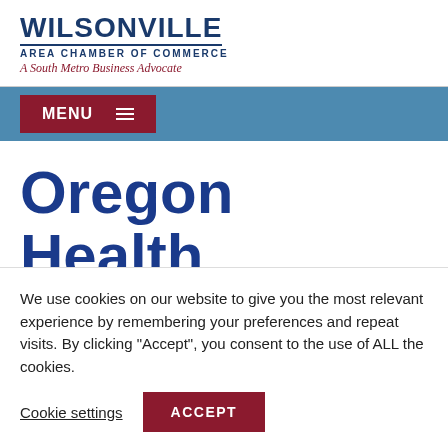[Figure (logo): Wilsonville Area Chamber of Commerce logo with text: WILSONVILLE, AREA CHAMBER OF COMMERCE, A South Metro Business Advocate]
MENU
Oregon Health
We use cookies on our website to give you the most relevant experience by remembering your preferences and repeat visits. By clicking “Accept”, you consent to the use of ALL the cookies.
Cookie settings   ACCEPT